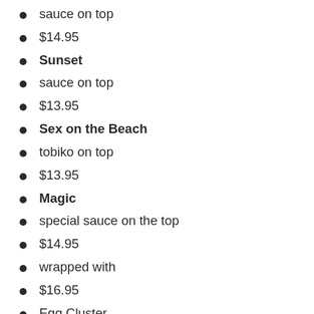sauce on top
$14.95
Sunset
sauce on top
$13.95
Sex on the Beach
tobiko on top
$13.95
Magic
special sauce on the top
$14.95
wrapped with
$16.95
Egg Cluster
Tomago
$4.00
Crab
Kani